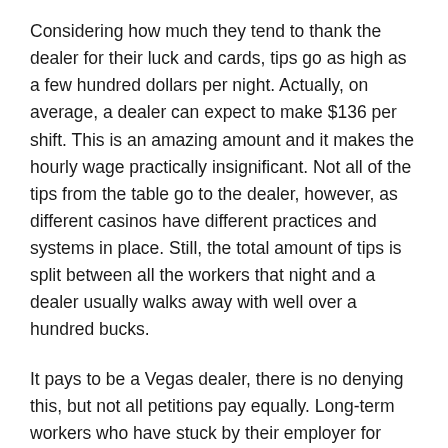Considering how much they tend to thank the dealer for their luck and cards, tips go as high as a few hundred dollars per night. Actually, on average, a dealer can expect to make $136 per shift. This is an amazing amount and it makes the hourly wage practically insignificant. Not all of the tips from the table go to the dealer, however, as different casinos have different practices and systems in place. Still, the total amount of tips is split between all the workers that night and a dealer usually walks away with well over a hundred bucks.
It pays to be a Vegas dealer, there is no denying this, but not all petitions pay equally. Long-term workers who have stuck by their employer for more than a few years, decades even, have stunning salaries that rival the highest paying jobs when the tips are calculated in. Therefore, it is all about determination and perseverance. Eventually, all good dealers start to make great money.